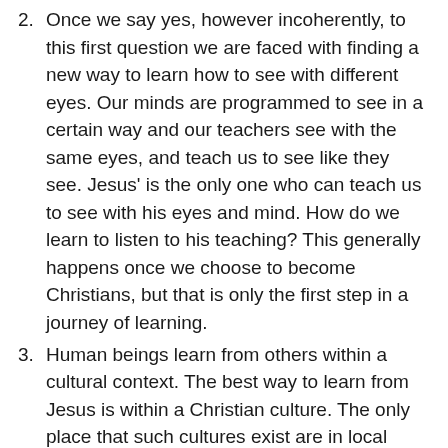Once we say yes, however incoherently, to this first question we are faced with finding a new way to learn how to see with different eyes. Our minds are programmed to see in a certain way and our teachers see with the same eyes, and teach us to see like they see. Jesus' is the only one who can teach us to see with his eyes and mind. How do we learn to listen to his teaching? This generally happens once we choose to become Christians, but that is only the first step in a journey of learning.
Human beings learn from others within a cultural context. The best way to learn from Jesus is within a Christian culture. The only place that such cultures exist are in local Christian communities and even these may largely see with secular eyes, not Jesus' eyes. So, do we search for the 'right' church or do we become part of a local church and help make it the 'right' church that sees with Jesus' eyes? The Spirit leads us on this journey but my general